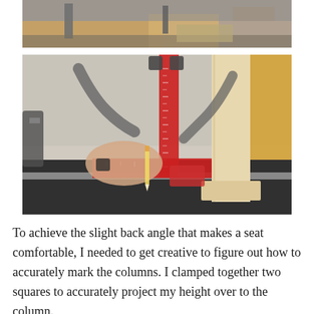[Figure (photo): Partial photo at top showing woodworking setup with clamps and lumber on a workbench]
[Figure (photo): Photo of a person's hand holding a pencil against a red measuring square/ruler tool clamped to a wood column/post on a workbench, with workshop equipment in background]
To achieve the slight back angle that makes a seat comfortable, I needed to get creative to figure out how to accurately mark the columns. I clamped together two squares to accurately project my height over to the column.